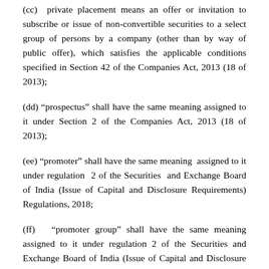(cc) private placement means an offer or invitation to subscribe or issue of non-convertible securities to a select group of persons by a company (other than by way of public offer), which satisfies the applicable conditions specified in Section 42 of the Companies Act, 2013 (18 of 2013);
(dd) "prospectus" shall have the same meaning assigned to it under Section 2 of the Companies Act, 2013 (18 of 2013);
(ee) "promoter" shall have the same meaning assigned to it under regulation 2 of the Securities and Exchange Board of India (Issue of Capital and Disclosure Requirements) Regulations, 2018;
(ff) "promoter group" shall have the same meaning assigned to it under regulation 2 of the Securities and Exchange Board of India (Issue of Capital and Disclosure Requirements) Regulations, 2018;
Explanation: In case of Real Estate Investment Trust (REIT) and Infrastructure Investment Trust (InvIT), 'promoter' and